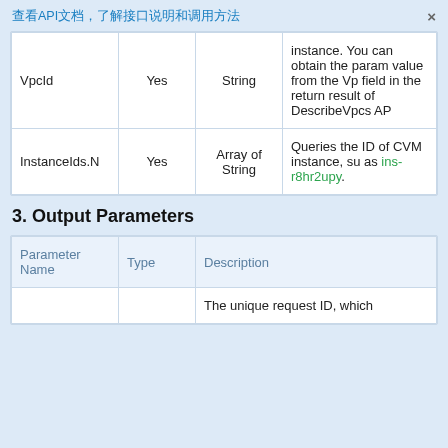查看API文档，了解接口说明和调用方法
| VpcId | Yes | String | instance. You can obtain the param value from the Vp field in the return result of DescribeVpcs AP |
| InstanceIds.N | Yes | Array of String | Queries the ID of CVM instance, su as ins-r8hr2upy. |
3. Output Parameters
| Parameter Name | Type | Description |
| --- | --- | --- |
|  |  | The unique request ID, which |